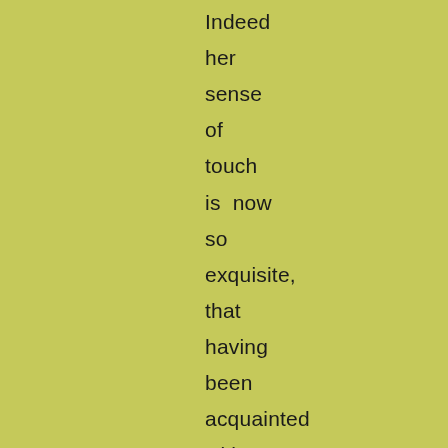Indeed her sense of touch is now so exquisite, that having been acquainted with a person once, she can recognise him or